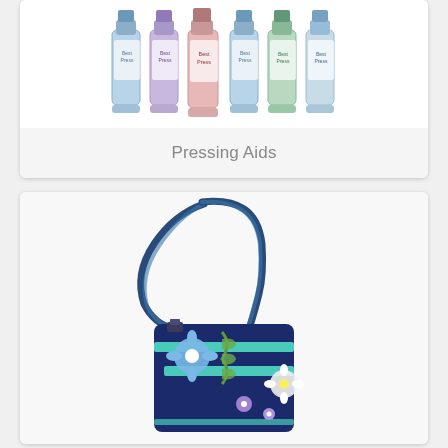[Figure (photo): Photo of Best Press starch spray bottles in various scents arranged in a row, partially cropped at top]
Pressing Aids
[Figure (photo): Photo of a dark blue floral fabric crossbody bag with teal zipper accents and long strap, photographed on white background]